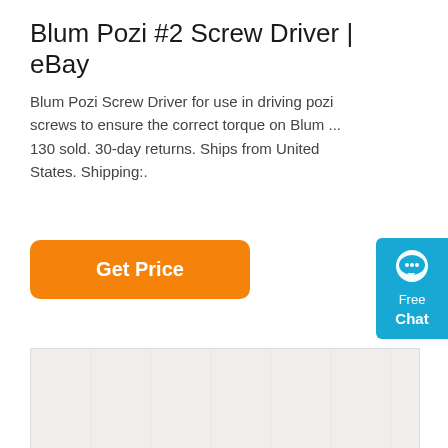Blum Pozi #2 Screw Driver | eBay
Blum Pozi Screw Driver for use in driving pozi screws to ensure the correct torque on Blum ... 130 sold. 30-day returns. Ships from United States. Shipping:.
[Figure (other): Orange 'Get Price' button]
[Figure (other): Blue 'Free Chat' widget with speech bubble icon on the right edge]
[Figure (photo): Photograph of three black pozi/drywall screws lying diagonally on a light gray background, with a faint watermark text visible]